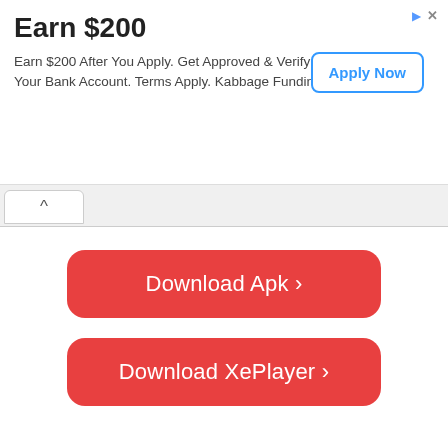[Figure (screenshot): Advertisement banner: Earn $200 with Apply Now button]
[Figure (screenshot): Tab navigation area with up arrow caret tab]
[Figure (screenshot): Red rounded button labeled 'Download Apk >']
[Figure (screenshot): Red rounded button labeled 'Download XePlayer >']
personalization
[Figure (screenshot): Heart icon with count 0]
[Figure (screenshot): Social share buttons: Facebook Share 0, Twitter Tweet 0, Google+ 0, LinkedIn Share 0, Pinterest Pin 0]